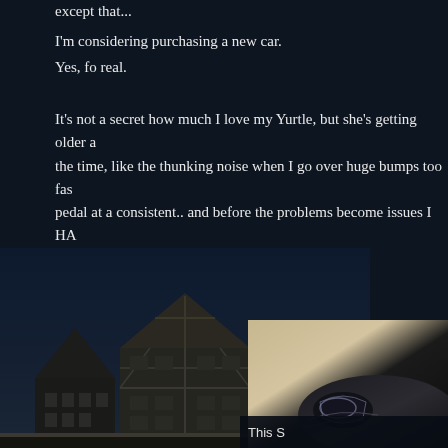except that...
I'm considering purchasing a new car.
Yes, fo real.
It's not a secret how much I love my Yurtle, but she's getting older a the time, like the thunking noise when I go over huge bumps too fas pedal at a consistent.. and before the problems become issues I HA
[Figure (photo): Dark night sky over European-style half-timbered buildings silhouetted at bottom of page]
[Figure (photo): Close-up of a dark colored car headlight and hood, shown in a beige/cream interior setting]
This S